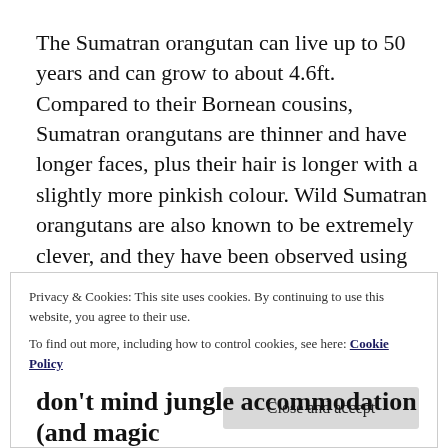The Sumatran orangutan can live up to 50 years and can grow to about 4.6ft. Compared to their Bornean cousins, Sumatran orangutans are thinner and have longer faces, plus their hair is longer with a slightly more pinkish colour. Wild Sumatran orangutans are also known to be extremely clever, and they have been observed using branches of leaves as an umbrella to shield themselves from the monsoon!
Privacy & Cookies: This site uses cookies. By continuing to use this website, you agree to their use.
To find out more, including how to control cookies, see here: Cookie Policy
Close and accept
don't mind jungle accommodation (and magic